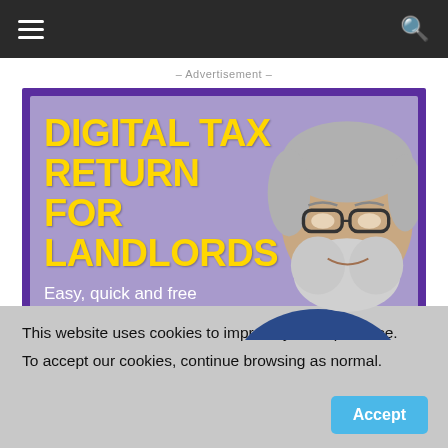Navigation bar with hamburger menu and search icon
– Advertisement –
[Figure (infographic): Advertisement banner with purple background showing bold yellow text reading 'DIGITAL TAX RETURN FOR LANDLORDS' with subtitle 'Easy, quick and free' and a photo of an older man with grey hair and beard wearing glasses.]
This website uses cookies to improve your experience. To accept our cookies, continue browsing as normal.